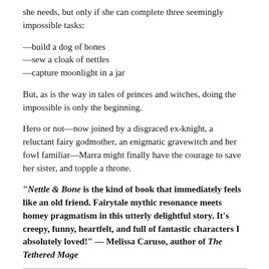she needs, but only if she can complete three seemingly impossible tasks:
—build a dog of bones
—sew a cloak of nettles
—capture moonlight in a jar
But, as is the way in tales of princes and witches, doing the impossible is only the beginning.
Hero or not—now joined by a disgraced ex-knight, a reluctant fairy godmother, an enigmatic gravewitch and her fowl familiar—Marra might finally have the courage to save her sister, and topple a throne.
"Nettle & Bone is the kind of book that immediately feels like an old friend. Fairytale mythic resonance meets homey pragmatism in this utterly delightful story. It's creepy, funny, heartfelt, and full of fantastic characters I absolutely loved!" — Melissa Caruso, author of The Tethered Mage
About the Author